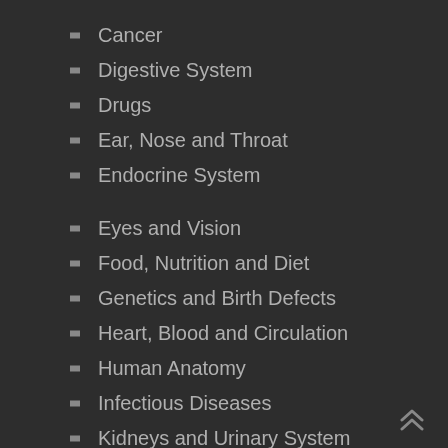Cancer
Digestive System
Drugs
Ear, Nose and Throat
Endocrine System
Eyes and Vision
Food, Nutrition and Diet
Genetics and Birth Defects
Heart, Blood and Circulation
Human Anatomy
Infectious Diseases
Kidneys and Urinary System
Lungs, Breathing and Respiration